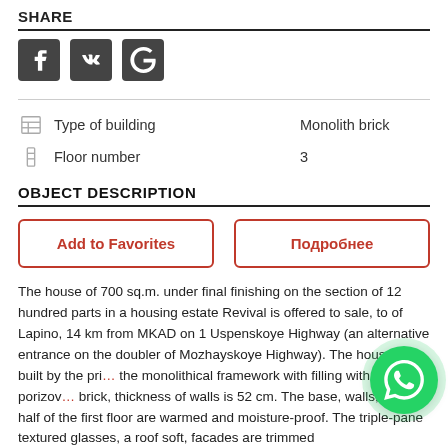SHARE
[Figure (logo): Social sharing icons: Facebook (f), VK (VK), Google+ (G+) in dark square buttons]
|  | Property | Value |
| --- | --- | --- |
| [building icon] | Type of building | Monolith brick |
| [floor icon] | Floor number | 3 |
OBJECT DESCRIPTION
Add to Favorites
Подробнее
The house of 700 sq.m. under final finishing on the section of 12 hundred parts in a housing estate Revival is offered to sale, to of Lapino, 14 km from MKAD on 1 Uspenskoye Highway (an alternative entrance on the doubler of Mozhayskoye Highway). The house is built by the principle of the monolithic framework with filling with a porizovaniy brick, thickness of walls is 52 cm. The base, walls, a roof and a half of the first floor are warmed and moisture-proof. The triple-pane textured glasses, a roof soft, facades are trimmed